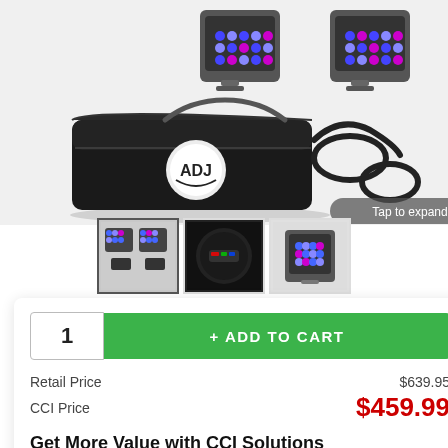[Figure (photo): ADJ lighting kit product photo showing two LED par lights, a black ADJ carry bag, and three coiled cables on a light gray background, with a 'Tap to expand' overlay label.]
[Figure (photo): Three product thumbnail images: full kit view, control panel close-up, and single LED par light front view.]
1
+ ADD TO CART
Retail Price $639.95
CCI Price $459.99
Get More Value with CCI Solutions
Free UPS Shipping